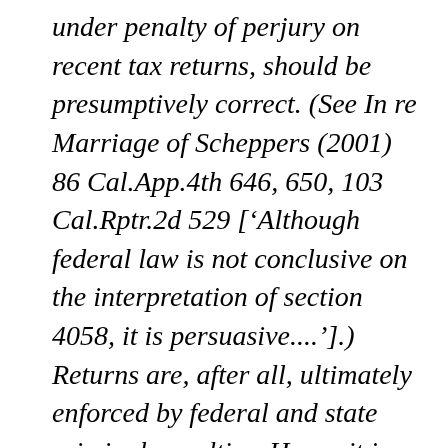under penalty of perjury on recent tax returns, should be presumptively correct. (See In re Marriage of Scheppers (2001) 86 Cal.App.4th 646, 650, 103 Cal.Rptr.2d 529 [‘Although federal law is not conclusive on the interpretation of section 4058, it is persuasive....’].) Returns are, after all, ultimately enforced by federal and state criminal penalties. Hence it is not surprising that tax returns are the core component of determinations